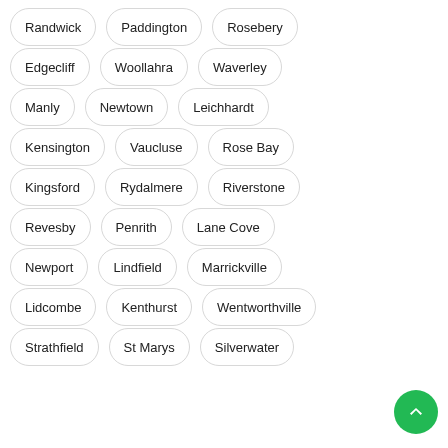Randwick
Paddington
Rosebery
Edgecliff
Woollahra
Waverley
Manly
Newtown
Leichhardt
Kensington
Vaucluse
Rose Bay
Kingsford
Rydalmere
Riverstone
Revesby
Penrith
Lane Cove
Newport
Lindfield
Marrickville
Lidcombe
Kenthurst
Wentworthville
Strathfield
St Marys
Silverwater